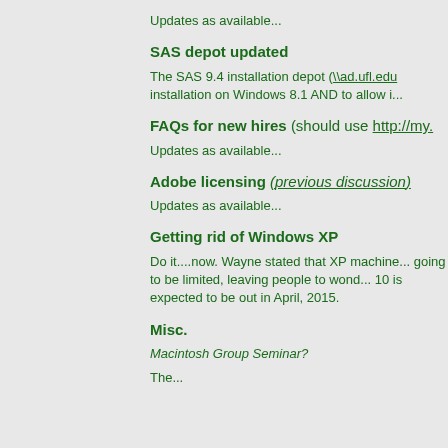Updates as available...
SAS depot updated
The SAS 9.4 installation depot (\\ad.ufl.edu... installation on Windows 8.1 AND to allow i...
FAQs for new hires (should use http://my....
Updates as available...
Adobe licensing (previous discussion)
Updates as available...
Getting rid of Windows XP
Do it....now. Wayne stated that XP machine... going to be limited, leaving people to wond... 10 is expected to be out in April, 2015.
Misc.
Macintosh Group Seminar?
The...